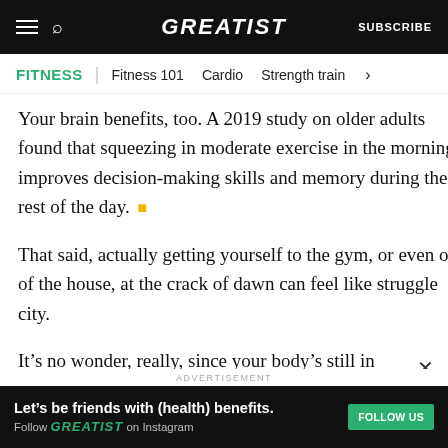GREATIST | SUBSCRIBE
FITNESS | Fitness 101  Cardio  Strength train >
Your brain benefits, too. A 2019 study on older adults found that squeezing in moderate exercise in the morning improves decision-making skills and memory during the rest of the day.
That said, actually getting yourself to the gym, or even out of the house, at the crack of dawn can feel like struggle city.
It’s no wonder, really, since your body’s still in
ADVERTISEMENT
Let’s be friends with (health) benefits. Follow GREATIST on Instagram  FOLLOW US